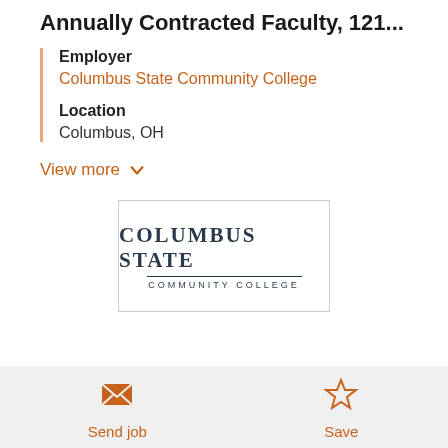Annually Contracted Faculty, 121...
Employer
Columbus State Community College
Location
Columbus, OH
View more
[Figure (logo): Columbus State Community College logo: bold serif COLUMBUS STATE text with a horizontal rule and COMMUNITY COLLEGE in small caps below, inside a bordered rectangle.]
Send job   Save